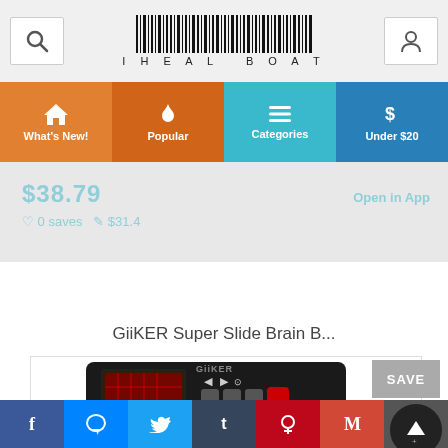[Figure (screenshot): Website header with search button, barcode reading 'IHEAL BOAT', and user icon]
[Figure (screenshot): Navigation bar with four items: What's New!, Popular, Categories, Under $20]
[Figure (screenshot): Faded product strip showing price $38.79 and action buttons]
GiiKER Super Slide Brain B...
[Figure (photo): GiiKER Super Slide Brain Board game device with SAVE button and up arrow overlay]
[Figure (screenshot): Social sharing bar with Facebook, Messenger, Twitter, Tumblr, Pinterest, Gmail, and More buttons]